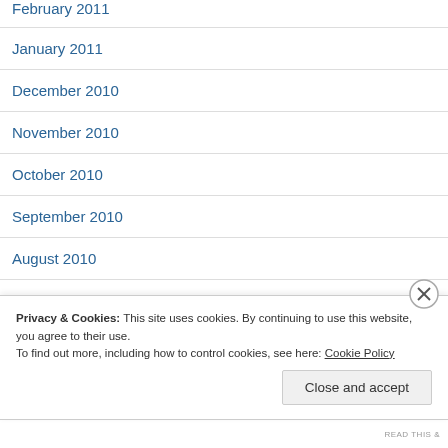February 2011
January 2011
December 2010
November 2010
October 2010
September 2010
August 2010
July 2010
June 2010
Privacy & Cookies: This site uses cookies. By continuing to use this website, you agree to their use.
To find out more, including how to control cookies, see here: Cookie Policy
READTHIS&...